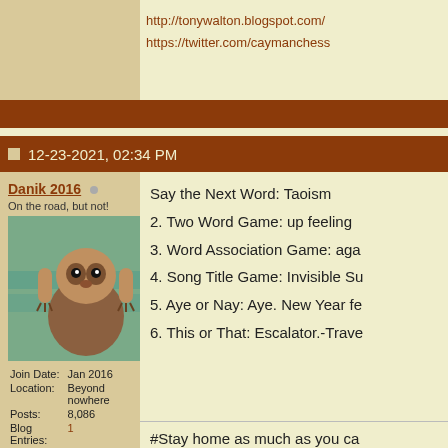http://tonywalton.blogspot.com/
https://twitter.com/caymanchess
12-23-2021, 02:34 PM
Danik 2016
On the road, but not!
Join Date: Jan 2016
Location: Beyond nowhere
Posts: 8,086
Blog Entries: 1
Say the Next Word: Taoism
2. Two Word Game: up feeling
3. Word Association Game: aga
4. Song Title Game: Invisible Su
5. Aye or Nay: Aye. New Year fe
6. This or That: Escalator.-Trave
#Stay home as much as you ca
01-23-2022, 12:12 PM